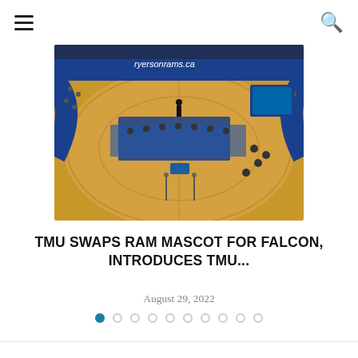Navigation bar with hamburger menu and search icon
[Figure (photo): Aerial fisheye view of a basketball gymnasium court with blue banners reading ryersonrams.ca, people seated at tables on the court, audience in stands, and a person standing at center court]
TMU SWAPS RAM MASCOT FOR FALCON, INTRODUCES TMU...
August 29, 2022
Pagination dots: 10 dots, first one active (filled blue), rest empty circles